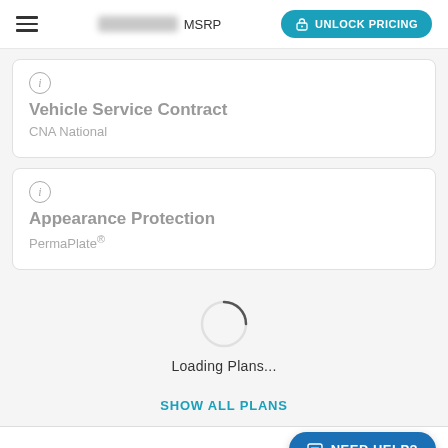MSRP  UNLOCK PRICING
Vehicle Service Contract
CNA National
Appearance Protection
PermaPlate®
Loading Plans...
SHOW ALL PLANS
NEED HELP?
Honda Genuine Accessories